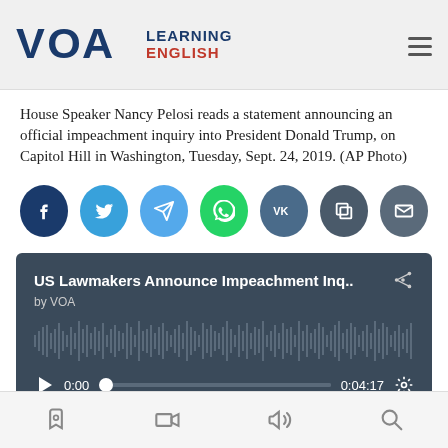VOA Learning English
House Speaker Nancy Pelosi reads a statement announcing an official impeachment inquiry into President Donald Trump, on Capitol Hill in Washington, Tuesday, Sept. 24, 2019. (AP Photo)
[Figure (other): Social media share buttons: Facebook, Twitter, Telegram, WhatsApp, VK, Copy, Email]
[Figure (other): Audio player for 'US Lawmakers Announce Impeachment Inq..' by VOA, duration 0:04:17, current time 0:00, with waveform visualization and playback controls]